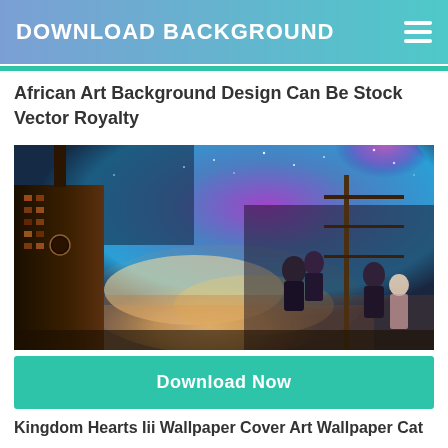DOWNLOAD BACKGROUND
African Art Background Design Can Be Stock Vector Royalty
[Figure (illustration): Kingdom Hearts III wallpaper art featuring anime characters on a rooftop with a colorful cosmic sky background and a tall skyscraper building on the left]
Download Now
Kingdom Hearts Iii Wallpaper Cover Art Wallpaper Cat